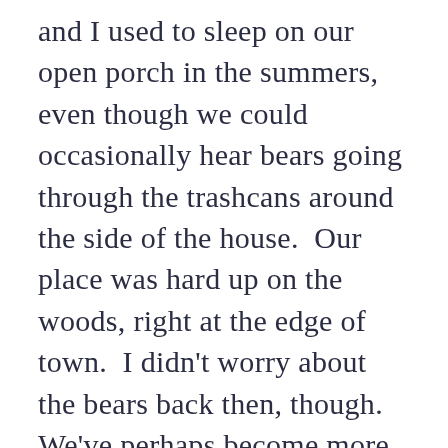and I used to sleep on our open porch in the summers, even though we could occasionally hear bears going through the trashcans around the side of the house.  Our place was hard up on the woods, right at the edge of town.  I didn't worry about the bears back then, though.  We've perhaps become more afraid of nature because we know we've not been good to it.  The episode of the X-Files